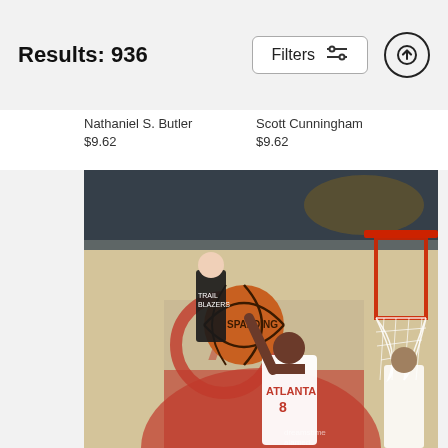Results: 936
Filters
Nathaniel S. Butler
$9.62
Scott Cunningham
$9.62
[Figure (photo): NBA basketball action photo: Atlanta Hawks player #8 in white ATLANTA jersey reaching up toward a Spalding basketball near the basket/net, with a Portland Trail Blazers player in background on the court. The Atlanta Hawks logo is visible on the court. Photo appears to have a DreamstimeAll / Alamy watermark.]